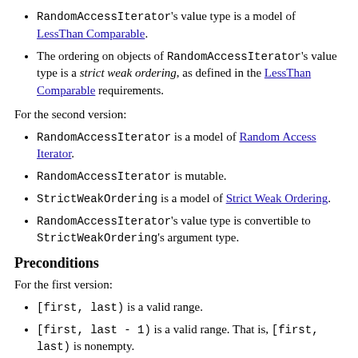RandomAccessIterator's value type is a model of LessThan Comparable.
The ordering on objects of RandomAccessIterator's value type is a strict weak ordering, as defined in the LessThan Comparable requirements.
For the second version:
RandomAccessIterator is a model of Random Access Iterator.
RandomAccessIterator is mutable.
StrictWeakOrdering is a model of Strict Weak Ordering.
RandomAccessIterator's value type is convertible to StrictWeakOrdering's argument type.
Preconditions
For the first version:
[first, last) is a valid range.
[first, last - 1) is a valid range. That is, [first, last) is nonempty.
[first, last) is a heap. That is, is_heap(first, last) is true.